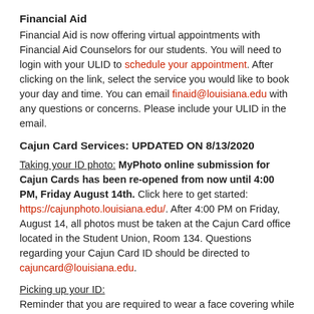Financial Aid
Financial Aid is now offering virtual appointments with Financial Aid Counselors for our students. You will need to login with your ULID to schedule your appointment. After clicking on the link, select the service you would like to book your day and time. You can email finaid@louisiana.edu with any questions or concerns. Please include your ULID in the email.
Cajun Card Services: UPDATED ON 8/13/2020
Taking your ID photo: MyPhoto online submission for Cajun Cards has been re-opened from now until 4:00 PM, Friday August 14th. Click here to get started: https://cajunphoto.louisiana.edu/. After 4:00 PM on Friday, August 14, all photos must be taken at the Cajun Card office located in the Student Union, Room 134. Questions regarding your Cajun Card ID should be directed to cajuncard@louisiana.edu.
Picking up your ID:
Reminder that you are required to wear a face covering while on campus and maintain proper social distancing.
Residential Students: